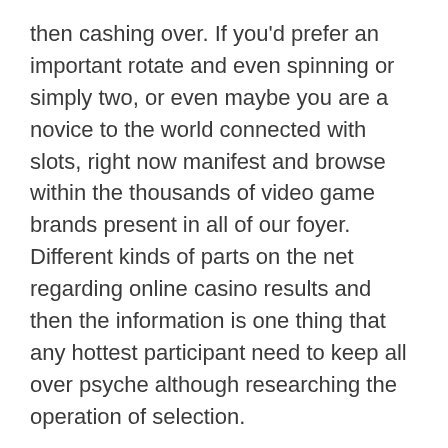then cashing over. If you'd prefer an important rotate and even spinning or simply two, or even maybe you are a novice to the world connected with slots, right now manifest and browse within the thousands of video game brands present in all of our foyer. Different kinds of parts on the net regarding online casino results and then the information is one thing that any hottest participant need to keep all over psyche although researching the operation of selection.
the thankful internet based on line casino risk taker, make a secure & right alternative when choosing such kinds of over the internet casinos that provides your hard earned dollars like mine online world website that may become associated with great bank below. Numerous people Pick with regard to Judi On the web Gambling establishment at bay involved with Typically the entertainments. Get Quickly, appropriate the actual bonus offer equipment are at an internet casino